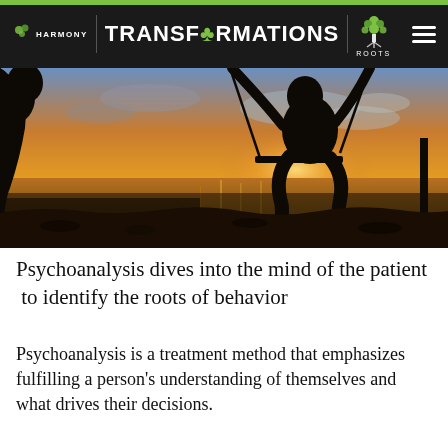HARMONY TRANSFORMATIONS ROOTS
[Figure (photo): Silhouette of a person sitting on a swing against a golden sunset over water, with trees visible on the left side.]
Psychoanalysis dives into the mind of the patient  to identify the roots of behavior
Psychoanalysis is a treatment method that emphasizes fulfilling a person's understanding of themselves and what drives their decisions.